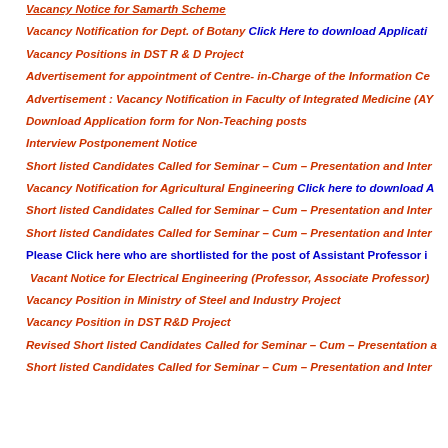Vacancy Notice for Samarth Scheme
Vacancy Notification for Dept. of Botany  Click Here to download Application
Vacancy Positions in DST R & D Project
Advertisement for appointment of Centre- in-Charge of the Information Ce
Advertisement : Vacancy Notification in Faculty of Integrated Medicine (AY
Download Application form for Non-Teaching posts
Interview Postponement Notice
Short listed Candidates Called for Seminar – Cum – Presentation and Inter
Vacancy Notification for Agricultural Engineering  Click here to download A
Short listed Candidates Called for Seminar – Cum – Presentation and Inter
Short listed Candidates Called for Seminar – Cum – Presentation and Inter
Please Click here who are shortlisted for the post of Assistant Professor i
Vacant Notice for Electrical Engineering (Professor, Associate Professor)
Vacancy Position in Ministry of Steel and Industry Project
Vacancy Position in DST R&D Project
Revised Short listed Candidates Called for Seminar – Cum – Presentation a
Short listed Candidates Called for Seminar – Cum – Presentation and Inter